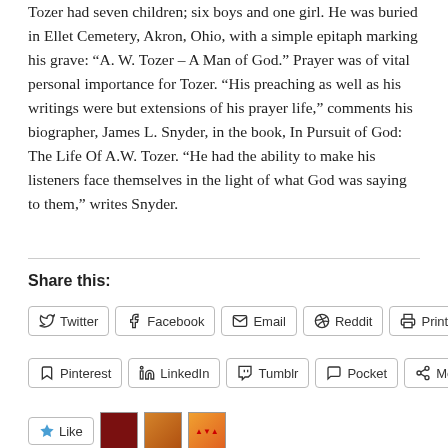Tozer had seven children; six boys and one girl. He was buried in Ellet Cemetery, Akron, Ohio, with a simple epitaph marking his grave: “A. W. Tozer – A Man of God.” Prayer was of vital personal importance for Tozer. “His preaching as well as his writings were but extensions of his prayer life,” comments his biographer, James L. Snyder, in the book, In Pursuit of God: The Life Of A.W. Tozer. “He had the ability to make his listeners face themselves in the light of what God was saying to them,” writes Snyder.
Share this:
Twitter
Facebook
Email
Reddit
Print
Pinterest
LinkedIn
Tumblr
Pocket
More